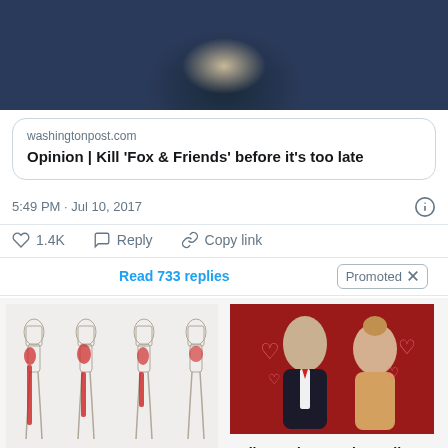[Figure (photo): Partial photo of a man in a dark suit, cropped to show lower face/neck area]
washingtonpost.com
Opinion | Kill 'Fox & Friends' before it's too late
5:49 PM · Jul 10, 2017
♡ 1.4K   Reply   Copy link
Read 733 replies
Promoted ×
[Figure (illustration): Medical illustration showing sciatic nerve pain locations on human body silhouettes]
[Figure (photo): Photo of Hollywood couple on red background with heart decorations]
Are You Suffering From Sciatic Nerve Pain? Find Out Why
🔥 3,721
Hollywood Stars That Fell For Each Other On Set